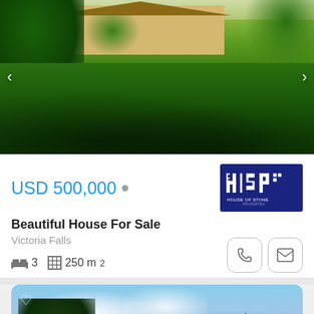[Figure (photo): Outdoor photo of a house with lush green lawn and tropical garden in the foreground, yellow/cream building visible in background with thatched roof structures]
USD 500,000 •
[Figure (logo): House of Stone Properties logo — dark blue square with stylized HSP letters and text 'HOUSE OF STONE PROPERTIES' below]
Beautiful House For Sale
Victoria Falls
3   250 m²
[Figure (photo): Partial outdoor photo showing blue sky with clouds, trees on the left, and what appears to be a rooftop in the foreground]